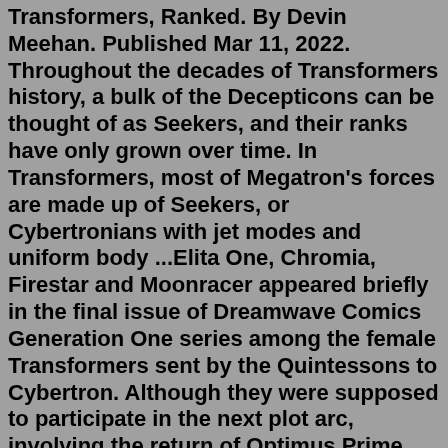Transformers, Ranked. By Devin Meehan. Published Mar 11, 2022. Throughout the decades of Transformers history, a bulk of the Decepticons can be thought of as Seekers, and their ranks have only grown over time. In Transformers, most of Megatron's forces are made up of Seekers, or Cybertronians with jet modes and uniform body ...Elita One, Chromia, Firestar and Moonracer appeared briefly in the final issue of Dreamwave Comics Generation One series among the female Transformers sent by the Quintessons to Cybertron. Although they were supposed to participate in the next plot arc, involving the return of Optimus Prime, the company's closure left this story unfinished.The name Galvatronus has been used for multiple Combiner characters but originated in the collector oriented "Generations" toyline. The designers behind the toyline, based on the five-part Combiner model of one robot as a torso and four for the limbs, wanted to introduce a new version of Cyclonus who would be a combiner component unlike his incarnation in the